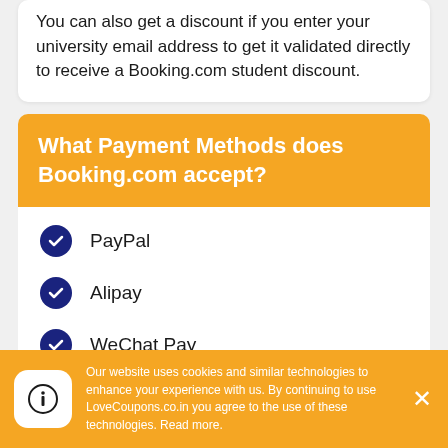You can also get a discount if you enter your university email address to get it validated directly to receive a Booking.com student discount.
What Payment Methods does Booking.com accept?
PayPal
Alipay
WeChat Pay
Bank Transfer
Our website uses cookies and similar technologies to enhance your experience with us. By continuing to use LoveCoupons.co.in you agree to the use of these technologies. Read more.